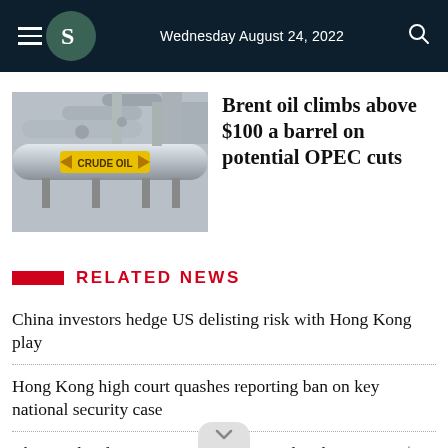Wednesday August 24, 2022
[Figure (photo): Industrial crude oil pipeline infrastructure with yellow 'CRUDE OIL' label and arrows]
Brent oil climbs above $100 a barrel on potential OPEC cuts
RELATED NEWS
China investors hedge US delisting risk with Hong Kong play
Hong Kong high court quashes reporting ban on key national security case
Chinese developer Evergrande's unit ordered to pay out $1.1 billion